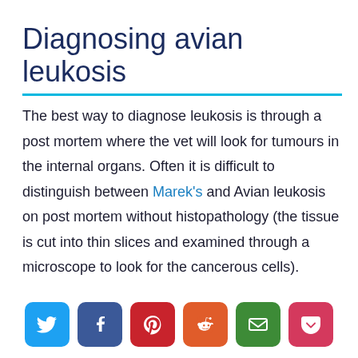Diagnosing avian leukosis
The best way to diagnose leukosis is through a post mortem where the vet will look for tumours in the internal organs. Often it is difficult to distinguish between Marek's and Avian leukosis on post mortem without histopathology (the tissue is cut into thin slices and examined through a microscope to look for the cancerous cells).
[Figure (infographic): Social sharing buttons row: Twitter (blue), Facebook (dark blue), Pinterest (red), Reddit (orange), Email (green), Pocket (pink-red)]